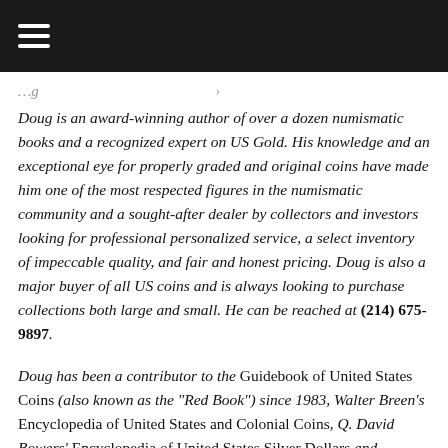[navigation bar with hamburger menu]
Doug is an award-winning author of over a dozen numismatic books and a recognized expert on US Gold. His knowledge and an exceptional eye for properly graded and original coins have made him one of the most respected figures in the numismatic community and a sought-after dealer by collectors and investors looking for professional personalized service, a select inventory of impeccable quality, and fair and honest pricing. Doug is also a major buyer of all US coins and is always looking to purchase collections both large and small. He can be reached at (214) 675-9897.
Doug has been a contributor to the Guidebook of United States Coins (also known as the “Red Book”) since 1983, Walter Breen’s Encyclopedia of United States and Colonial Coins, Q. David Bowers’ Encyclopedia of United States Silver Dollars and